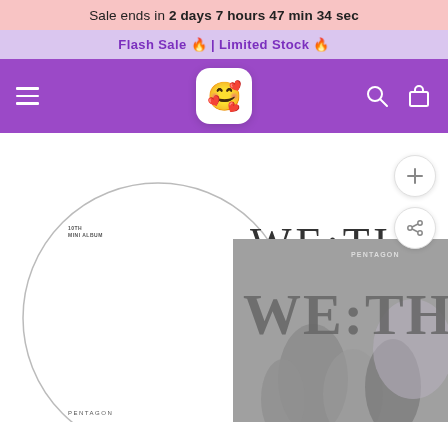Sale ends in 2 days 7 hours 47 min 34 sec
Flash Sale 🔥 | Limited Stock 🔥
[Figure (screenshot): Purple navigation bar with hamburger menu icon on left, cute marshmallow logo in center, search and bag icons on right]
[Figure (screenshot): Product image area showing PENTAGON WE:TH 10th mini album. White album cover with large circle outline and WE:TH text, and a grey photographic version of the album partially overlapping. Plus and share action buttons on right side. Small text: 10TH MINI ALBUM, PENTAGON at bottom left.]